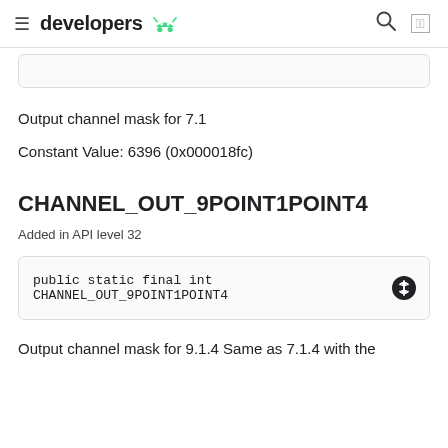developers
Output channel mask for 7.1
Constant Value: 6396 (0x000018fc)
CHANNEL_OUT_9POINT1POINT4
Added in API level 32
public static final int CHANNEL_OUT_9POINT1POINT4
Output channel mask for 9.1.4 Same as 7.1.4 with the